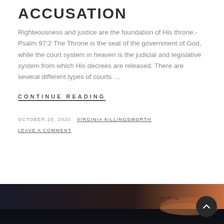ACCUSATION
Righteousness and justice are the foundation of His throne.-Psalm 97:2 The Throne is the seat of the government of God, while the court system in heaven is the judicial and legislative system from which His decrees are released. There are several different types of courts …
CONTINUE READING
OCTOBER 29, 2020  VIRGINIA KILLINGSWORTH
LEAVE A COMMENT
[Figure (photo): Dark moody landscape photo with warm sky tones at bottom of page]